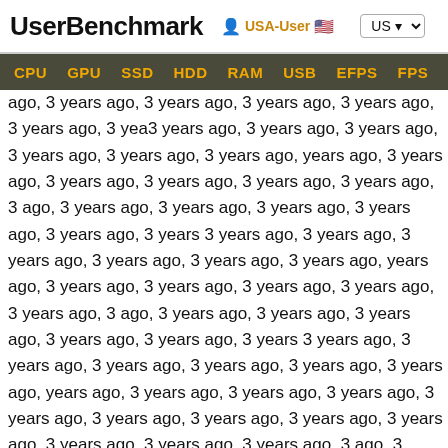UserBenchmark  USA-User  US
CPU  GPU  SSD  HDD  RAM  USB  EFPS  FPS  Sk
ago, 3 years ago, 3 years ago, 3 years ago, 3 years ago, 3 years ago, 3 years ago, 3 years ago, 3 years ago, 3 years ago, 3 years ago, 3 years ago, 3 years ago, 3 years ago, 3 years ago, 3 years ago, 3 years ago, 3 years ago, 3 years ago, 3 years ago, 3 years ago, 3 years ago, 3 years ago, 3 years ago, 3 years ago, 3 years ago, 3 years ago, 3 years ago, 3 years ago, 3 years ago, 3 years ago, 3 years ago, 3 years ago, 3 years ago, 3 years ago, 3 years ago, 3 years ago, 3 years ago, 3 years ago, 3 years ago, 3 years ago, 3 years ago, 3 years ago, 3 years ago, 3 years ago, 3 years ago, 3 years ago, 3 years ago, 3 years ago, 3 years ago, 3 years ago, 3 years ago, 3 years ago, 3 years ago, 3 years ago, 3 years ago, 3 years ago, 3 years ago, 3 years ago, 3 years ago, 3 years ago